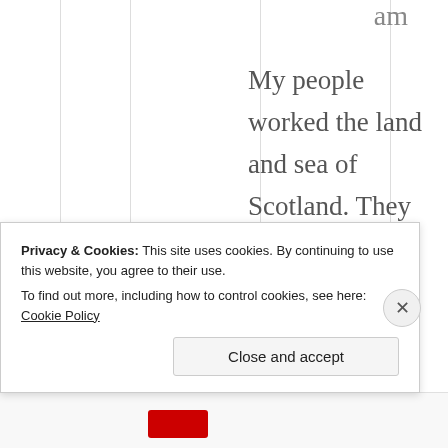am
My people worked the land and sea of Scotland. They were hardier organisms. Don't you think na?
Privacy & Cookies: This site uses cookies. By continuing to use this website, you agree to their use.
To find out more, including how to control cookies, see here: Cookie Policy
Close and accept